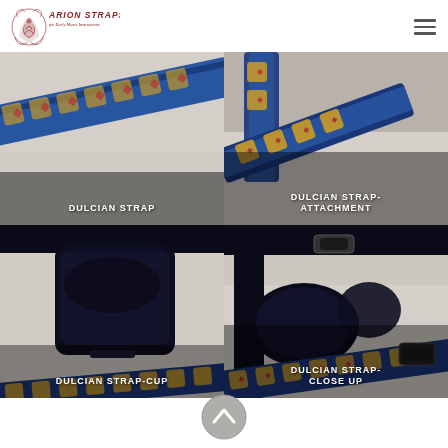Arion Straps for Early Music Instruments
[Figure (photo): Close-up of a colorful blue, gold and red brocade dulcian strap on a white fur background with text overlay 'DULCIAN STRAP']
[Figure (photo): Close-up of a colorful blue, gold brocade dulcian strap attachment hardware on a white fur background with text overlay 'DULCIAN STRAP-ATTACHMENT']
[Figure (photo): Close-up of a black velvet dulcian strap cup and brocade strap on white fur background with text overlay 'DULCIAN STRAP-CUP']
[Figure (photo): Close-up of a black velvet dulcian strap close up view with brocade strap detail on white fur background with text overlay 'DULCIAN STRAP-CLOSE UP']
[Figure (other): Grey circular scroll-up/back-to-top button with an upward-pointing chevron arrow]